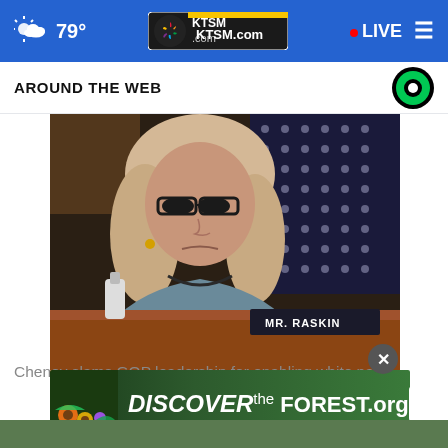79° KTSM.com LIVE
AROUND THE WEB
[Figure (photo): Woman with blonde hair and glasses seated at a hearing or committee room, looking serious. A nameplate reading 'MR. RASKIN' is visible in the background. US flag with stars is partially visible.]
Cheney slams GOP leadership for enabling white nati...
[Figure (infographic): Advertisement banner: 'DISCOVER the FOREST.org' with ad council and US Forest Service logos, over a forest background with colorful flowers on the left side.]